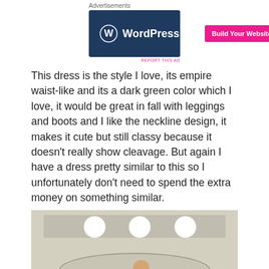[Figure (other): WordPress.com advertisement banner with blue background, WordPress logo on left, and pink 'Build Your Website' button on right]
This dress is the style I love, its empire waist-like and its a dark green color which I love, it would be great in fall with leggings and boots and I like the neckline design, it makes it cute but still classy because it doesn't really show cleavage. But again I have a dress pretty similar to this so I unfortunately don't need to spend the extra money on something similar.
[Figure (photo): Mirror selfie photo in bathroom showing person wearing dark green dress with criss-cross neckline design, three globe light bulbs visible above mirror]